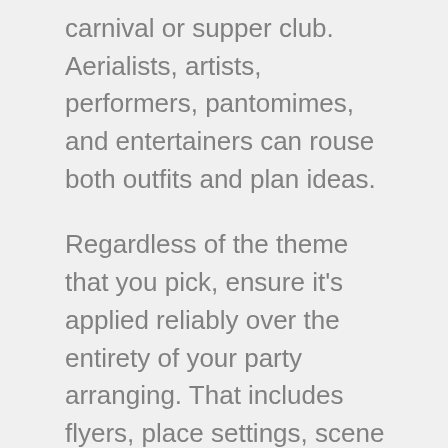carnival or supper club. Aerialists, artists, performers, pantomimes, and entertainers can rouse both outfits and plan ideas.
Regardless of the theme that you pick, ensure it's applied reliably over the entirety of your party arranging. That includes flyers, place settings, scene beautification, and invitations. You can have some good times and be innovative at this level. Thus, why not investigate and evaluate a couple of themes before you take them for printing?
Building the Party Buzz